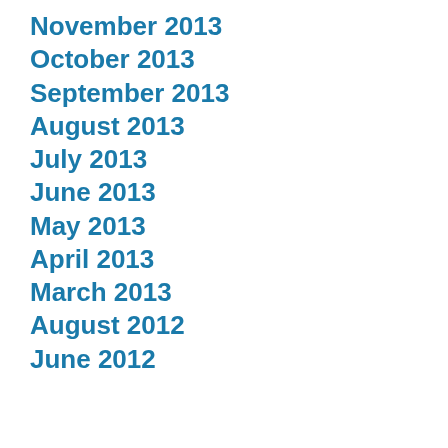November 2013
October 2013
September 2013
August 2013
July 2013
June 2013
May 2013
April 2013
March 2013
August 2012
June 2012